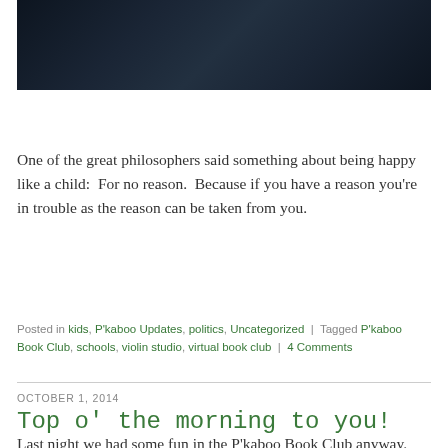[Figure (photo): Dark atmospheric photo strip showing silhouettes of figures in a dimly lit scene with dark blue-grey tones]
One of the great philosophers said something about being happy like a child:  For no reason.  Because if you have a reason you're in trouble as the reason can be taken from you.
Posted in kids, P'kaboo Updates, politics, Uncategorized | Tagged P'kaboo Book Club, schools, violin studio, virtual book club | 4 Comments
OCTOBER 1, 2014
Top o' the morning to you!
Last night we had some fun in the P'kaboo Book Club anyway. (Nobody said you're not allowed to go into the room except on